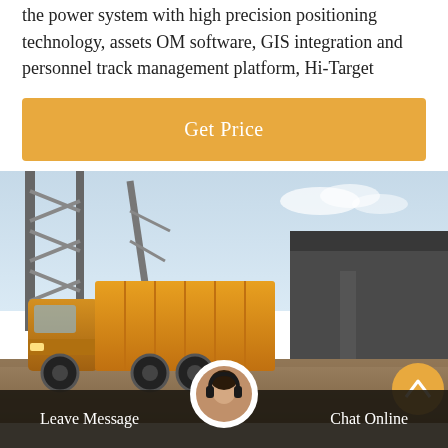the power system with high precision positioning technology, assets OM software, GIS integration and personnel track management platform, Hi-Target
[Figure (other): Orange button labeled 'Get Price']
[Figure (photo): Photograph of an orange utility/service truck parked in an industrial area with metal tower structures and a dark building in the background.]
Leave Message   Chat Online